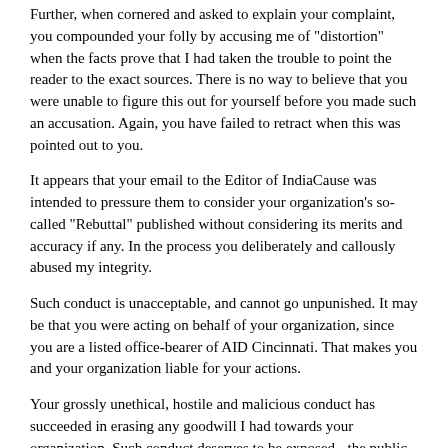Further, when cornered and asked to explain your complaint, you compounded your folly by accusing me of "distortion" when the facts prove that I had taken the trouble to point the reader to the exact sources. There is no way to believe that you were unable to figure this out for yourself before you made such an accusation. Again, you have failed to retract when this was pointed out to you.
It appears that your email to the Editor of IndiaCause was intended to pressure them to consider your organization's so-called "Rebuttal" published without considering its merits and accuracy if any. In the process you deliberately and callously abused my integrity.
Such conduct is unacceptable, and cannot go unpunished. It may be that you were acting on behalf of your organization, since you are a listed office-bearer of AID Cincinnati. That makes you and your organization liable for your actions.
Your grossly unethical, hostile and malicious conduct has succeeded in erasing any goodwill I had towards your organization. Such conduct deserves to be exposed - the public needs to know what you and your organization represent in reality.
In time of your grossly unethical conduct for your actions?